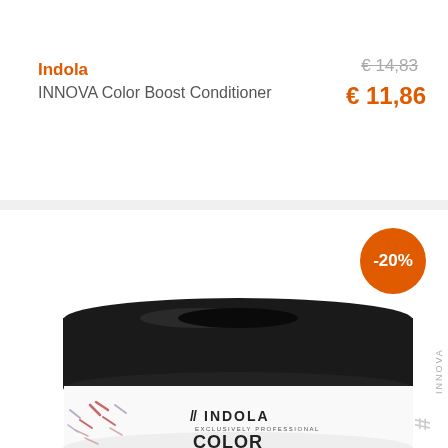Indola
INNOVA Color Boost Conditioner
€ 14,83
€ 11,86
[Figure (photo): Indola INNOVA Color Boost Conditioner jar with black lid, showing Indola Exclusively Professional branding and COLOR text, with -20% discount badge in orange circle]